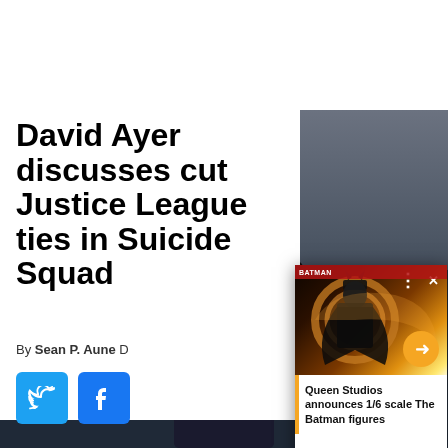David Ayer discusses cut Justice League ties in Suicide Squad
By Sean P. Aune D
[Figure (screenshot): Video overlay showing The Batman figure with golden circular background, play button arrow, close X and options dots controls]
Queen Studios announces 1/6 scale The Batman figures
[Figure (photo): Dark cinematic photo of a character from Suicide Squad with long dark hair and dark costume, looking directly at camera]